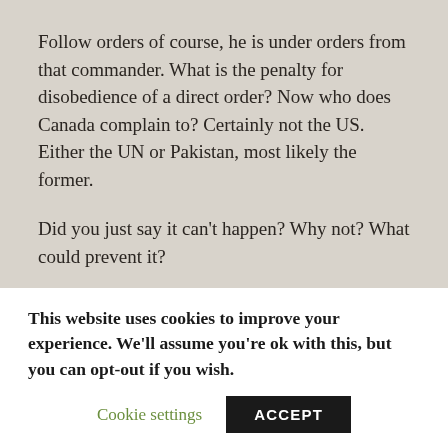Follow orders of course, he is under orders from that commander. What is the penalty for disobedience of a direct order? Now who does Canada complain to? Certainly not the US. Either the UN or Pakistan, most likely the former.
Did you just say it can't happen? Why not? What could prevent it?
MP> WOuld you negate Korea.
Orders in Korea came directly from the US President
This website uses cookies to improve your experience. We'll assume you're ok with this, but you can opt-out if you wish.